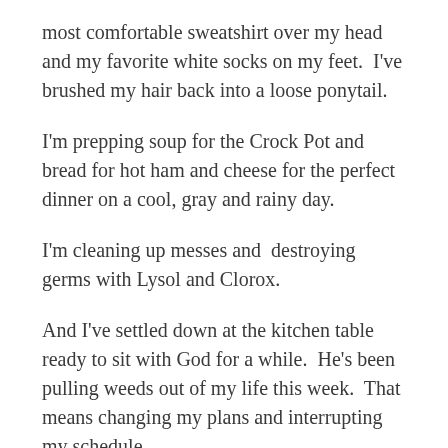most comfortable sweatshirt over my head and my favorite white socks on my feet.  I've brushed my hair back into a loose ponytail.
I'm prepping soup for the Crock Pot and bread for hot ham and cheese for the perfect dinner on a cool, gray and rainy day.
I'm cleaning up messes and  destroying germs with Lysol and Clorox.
And I've settled down at the kitchen table ready to sit with God for a while.  He's been pulling weeds out of my life this week.  That means changing my plans and interrupting my schedule.
It also means, He's trying to make something beautiful grow.